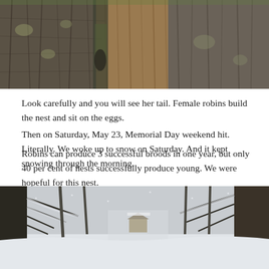[Figure (photo): Close-up photograph of tree bark showing rough, furrowed texture with grey and brown tones. A female robin is partially visible with her tail showing between the tree trunks.]
Look carefully and you will see her tail. Female robins build the nest and sit on the eggs.
Robins can produce 3 successful broods in one year, but only 40 per cent of nests successfully produce young. We were hopeful for this nest.
Then on Saturday, May 23, Memorial Day weekend hit. Literally. We woke up to snow on Saturday. And it kept snowing through the morning.
[Figure (photo): Photograph of a snowy winter scene viewed through bare tree branches. Snow covers the ground and trees, with what appears to be a small structure or birdhouse visible in the background.]